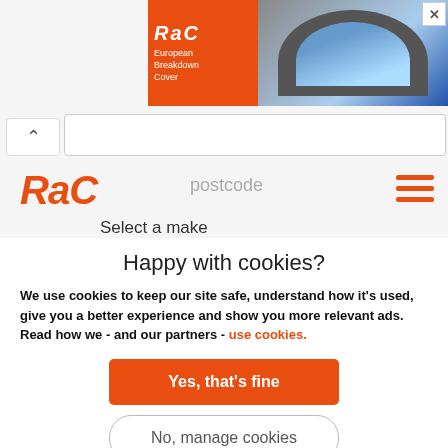[Figure (screenshot): RAC European Breakdown Cover advertisement banner with photo of road through tunnel and orange RAC logo text area]
[Figure (logo): RAC orange italic logo in page header]
postcode
Select a make
Any make
Happy with cookies?
We use cookies to keep our site safe, understand how it's used, give you a better experience and show you more relevant ads. Read how we - and our partners - use cookies.
Yes, that's fine
No, manage cookies